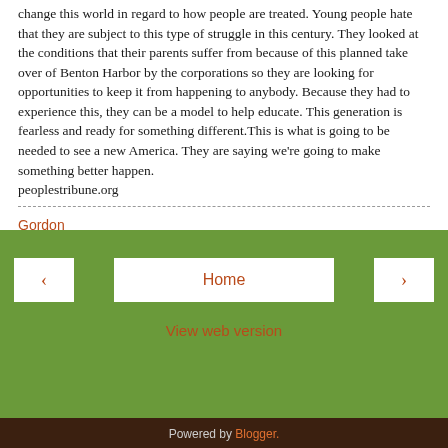change this world in regard to how people are treated. Young people hate that they are subject to this type of struggle in this century. They looked at the conditions that their parents suffer from because of this planned take over of Benton Harbor by the corporations so they are looking for opportunities to keep it from happening to anybody. Because they had to experience this, they can be a model to help educate. This generation is fearless and ready for something different.This is what is going to be needed to see a new America. They are saying we're going to make something better happen.
peoplestribune.org
Gordon
Share
Home | View web version | Powered by Blogger.